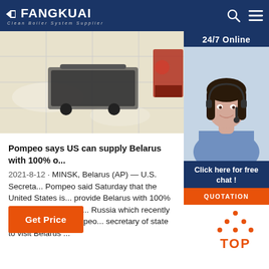FANGKUAI - Clean Boiler System Supplier
[Figure (photo): Industrial/boiler floor cleaning equipment photo on left, customer service agent photo on right with '24/7 Online' label, 'Click here for free chat!' text, and 'QUOTATION' orange button]
Pompeo says US can supply Belarus with 100% o...
2021-8-12 · MINSK, Belarus (AP) — U.S. Secreta... Pompeo said Saturday that the United States is... provide Belarus with 100% of its oil and gas, tak... Russia which recently cut off supplies. Pompeo... secretary of state to visit Belarus ...
[Figure (other): Orange 'Get Price' button]
[Figure (other): Orange 'TOP' back-to-top button with dot triangle icon]